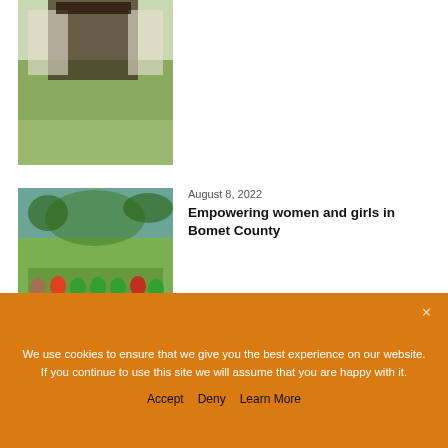[Figure (photo): Partial photo at top of page showing an outdoor event setup with tents or canopies, partially cropped]
August 8, 2022
Empowering women and girls in Bomet County
[Figure (photo): Group of women and girls seated outdoors on grass, wearing green and red clothing, trees in background]
August 8, 2022
CREAW recognized for their efforts in gender quality
[Figure (photo): Group of women posing together, some holding items, wearing colorful attire]
We use cookies to ensure that we give you the best experience on our website. If you continue to use this site we will assume that you are happy with it.
Accept   Deny   Learn More